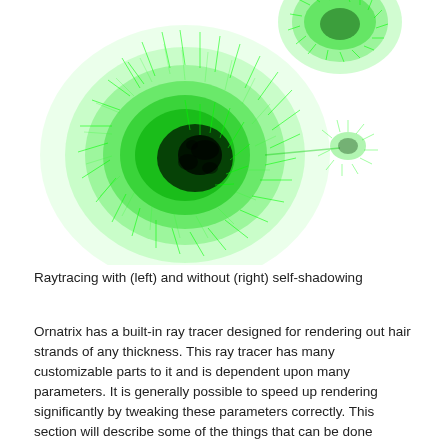[Figure (illustration): Two fuzzy green hair/fur ball renders on a white background — left one larger showing self-shadowing (darker interior), right one smaller and partially cropped at top right. The fur strands are bright green with black shadowed centers.]
Raytracing with (left) and without (right) self-shadowing
Ornatrix has a built-in ray tracer designed for rendering out hair strands of any thickness. This ray tracer has many customizable parts to it and is dependent upon many parameters. It is generally possible to speed up rendering significantly by tweaking these parameters correctly. This section will describe some of the things that can be done